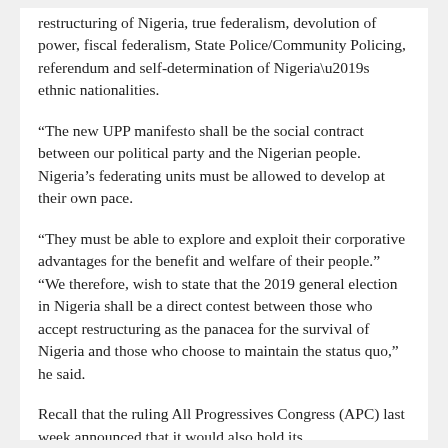restructuring of Nigeria, true federalism, devolution of power, fiscal federalism, State Police/Community Policing, referendum and self-determination of Nigeria’s ethnic nationalities.
“The new UPP manifesto shall be the social contract between our political party and the Nigerian people. Nigeria’s federating units must be allowed to develop at their own pace.
“They must be able to explore and exploit their corporative advantages for the benefit and welfare of their people.”
“We therefore, wish to state that the 2019 general election in Nigeria shall be a direct contest between those who accept restructuring as the panacea for the survival of Nigeria and those who choose to maintain the status quo,” he said.
Recall that the ruling All Progressives Congress (APC) last week announced that it would also hold its